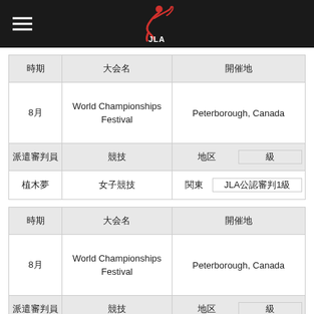JLA
| 時期 | 大会名 | 開催地 |
| --- | --- | --- |
| 8月 | World Championships Festival | Peterborough, Canada |
| 派遣審判員 | 競技 | 地区 | 級 |
| 植木夢 | 女子競技 | 関東 | JLA公認審判1級 |
| 時期 | 大会名 | 開催地 |
| --- | --- | --- |
| 8月 | World Championships Festival | Peterborough, Canada |
| 派遣審判員 | 競技 | 地区 | 級 |